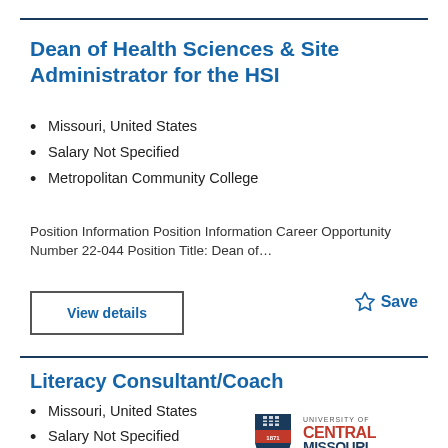Dean of Health Sciences & Site Administrator for the HSI
Missouri, United States
Salary Not Specified
Metropolitan Community College
Position Information Position Information Career Opportunity Number 22-044 Position Title: Dean of…
View details
Save
Literacy Consultant/Coach
Missouri, United States
Salary Not Specified
University of Central
[Figure (logo): University of Central Missouri logo — shield crest with '1871', text 'UNIVERSITY OF CENTRAL MISSOURI LEARNING TO A GREATER DEGREE']